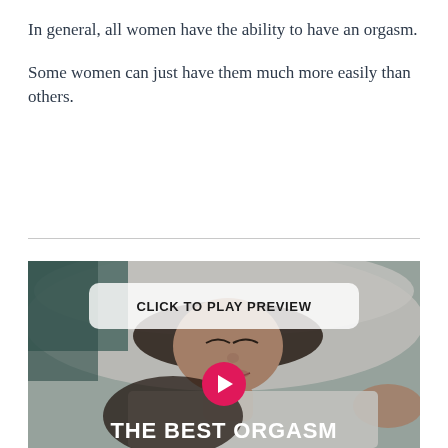In general, all women have the ability to have an orgasm.
Some women can just have them much more easily than others.
[Figure (photo): Video thumbnail showing a woman lying on a bed with eyes closed, overlaid with a semi-transparent 'CLICK TO PLAY PREVIEW' button, a pink play button circle, and 'THE BEST ORGASM' text at the bottom.]